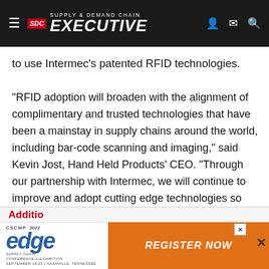Supply & Demand Chain Executive
to use Intermec's patented RFID technologies.
"RFID adoption will broaden with the alignment of complimentary and trusted technologies that have been a mainstay in supply chains around the world, including bar-code scanning and imaging," said Kevin Jost, Hand Held Products' CEO. "Through our partnership with Intermec, we will continue to improve and adopt cutting edge technologies so that we can respond to short term customer needs as well as their long-term goals."
Additio
[Figure (screenshot): CSCMP 2022 Edge Supply Chain Conference & Exhibition advertisement banner with 'Register Now' call to action]